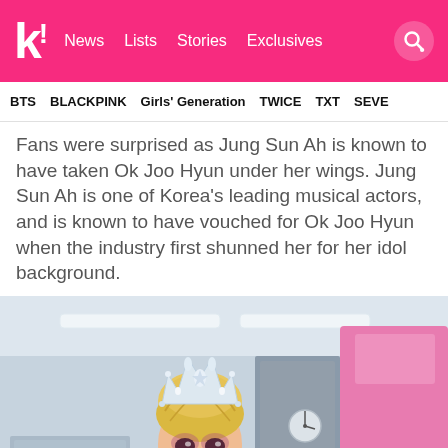k! News  Lists  Stories  Exclusives
BTS  BLACKPINK  Girls' Generation  TWICE  TXT  SEVE
Fans were surprised as Jung Sun Ah is known to have taken Ok Joo Hyun under her wings. Jung Sun Ah is one of Korea's leading musical actors, and is known to have vouched for Ok Joo Hyun when the industry first shunned her for her idol background.
[Figure (photo): Woman with blonde updo hairstyle and jeweled crown/tiara, wearing dramatic makeup, in a dressing room backstage setting with green outfit visible.]